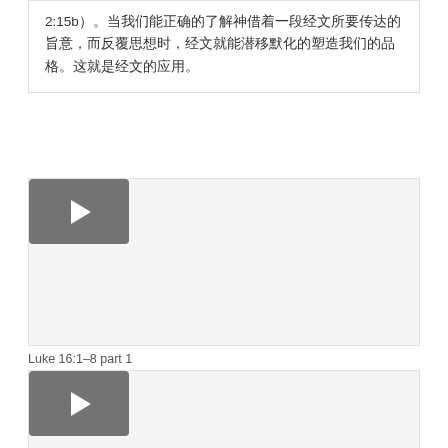2:15b）。当我们能正确的了解神借着一段经文所要传达的旨意，而反覆思想时，经文就能潜移默化的塑造我们的品格。这就是经文的应用。
[Figure (screenshot): Video player thumbnail with dark gray play button in upper left, white content area. Label: Luke 16:1-8 part 1]
Luke 16:1–8 part 1
[Figure (screenshot): Video player thumbnail with dark gray play button in upper left, white content area.]